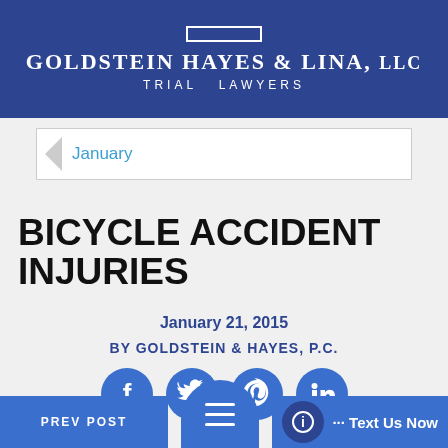GOLDSTEIN HAYES & LINA, LLC / TRIAL LAWYERS
January
BICYCLE ACCIDENT INJURIES
January 21, 2015
BY GOLDSTEIN & HAYES, P.C.
[Figure (infographic): Four circular social media icons: Facebook, Twitter, Pinterest, LinkedIn]
PREV POST
[Figure (infographic): Hamburger menu button (blue rounded top button with three white lines)]
... Text Us Now